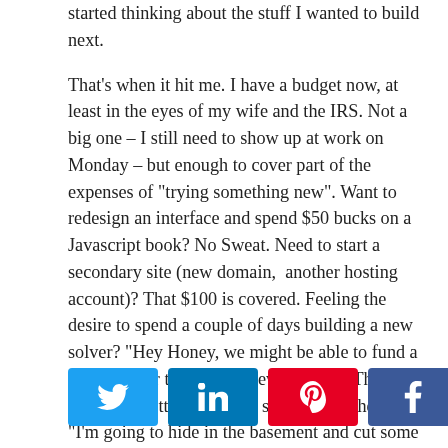started thinking about the stuff I wanted to build next.

That's when it hit me. I have a budget now, at least in the eyes of my wife and the IRS. Not a big one – I still need to show up at work on Monday – but enough to cover part of the expenses of "trying something new". Want to redesign an interface and spend $50 bucks on a Javascript book? No Sweat. Need to start a secondary site (new domain,  another hosting account)? That $100 is covered. Feeling the desire to spend a couple of days building a new solver? "Hey Honey, we might be able to fund a date night or two from a new solver..." That goes over a lot better with your significant other than "I'm going to hide in the basement and cut some code, see you in a week" – just a tip for you married guys 🙂
[Figure (infographic): Social share buttons row: Twitter (blue), LinkedIn (blue), Pinterest (red), Facebook (dark blue), and a share count showing 0 SHARES]